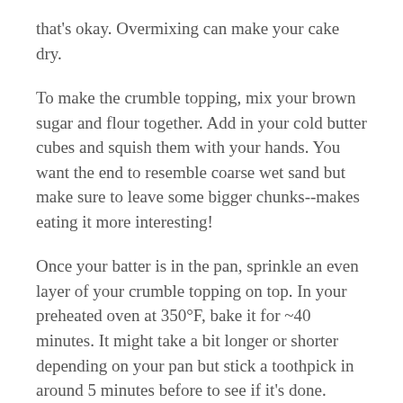that's okay. Overmixing can make your cake dry.
To make the crumble topping, mix your brown sugar and flour together. Add in your cold butter cubes and squish them with your hands. You want the end to resemble coarse wet sand but make sure to leave some bigger chunks--makes eating it more interesting!
Once your batter is in the pan, sprinkle an even layer of your crumble topping on top. In your preheated oven at 350°F, bake it for ~40 minutes. It might take a bit longer or shorter depending on your pan but stick a toothpick in around 5 minutes before to see if it's done.